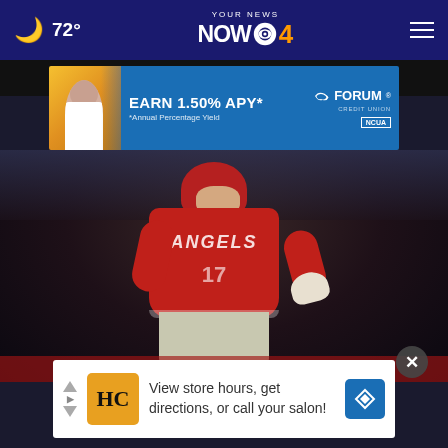🌙 72° | YOUR NEWS NOW CBS 4
[Figure (screenshot): Forum Credit Union advertisement banner: woman with yellow/blue background, text EARN 1.50% APY* *Annual Percentage Yield, Forum Credit Union logo, NCUA badge]
[Figure (photo): Baseball player in Los Angeles Angels red uniform number 17, wearing red helmet, running on baseball field at night]
[Figure (screenshot): Bottom advertisement: HC logo in yellow box with navigation arrows and play button, text: View store hours, get directions, or call your salon!]